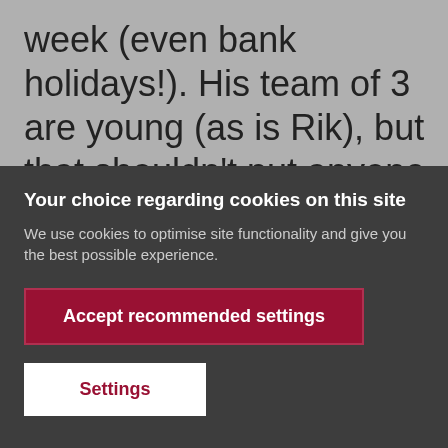week (even bank holidays!). His team of 3 are young (as is Rik), but that shouldn't put anyone off. He's had bags of experience with extensions, kitchen fitting and tiling. Their punctuality cannot be faulted. Site
Your choice regarding cookies on this site
We use cookies to optimise site functionality and give you the best possible experience.
Accept recommended settings
Settings